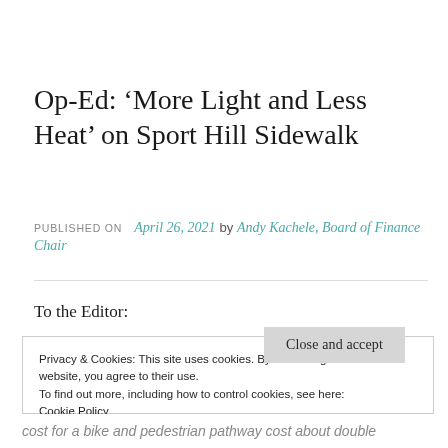Op-Ed: ‘More Light and Less Heat’ on Sport Hill Sidewalk
PUBLISHED ON April 26, 2021 by Andy Kachele, Board of Finance Chair
To the Editor:
Privacy & Cookies: This site uses cookies. By continuing to use this website, you agree to their use.
To find out more, including how to control cookies, see here:
Cookie Policy
Close and accept
cost for a bike and pedestrian pathway cost about double